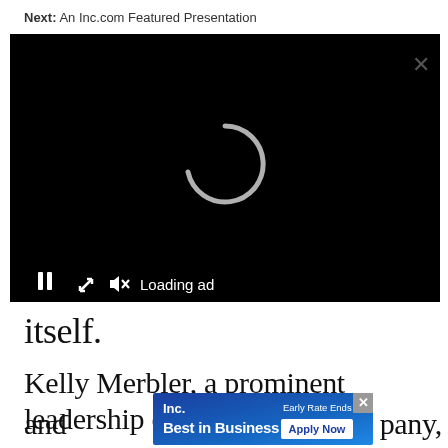Next: An Inc.com Featured Presentation
[Figure (screenshot): Video player with black background showing a loading spinner and controls bar with pause, expand, mute buttons and 'Loading ad' text]
itself.
Kelly Merbler, a prominent leadership coach
and
[Figure (infographic): Inc. Best in Business advertisement banner with 'Early Rate Ends 8/' text and 'Apply Now' button]
pany,